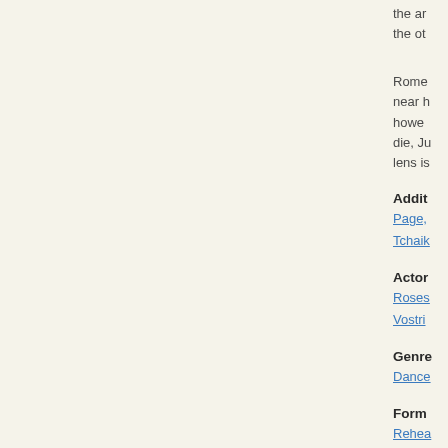the ar the ot
Rome near h howe die, J lens is
Addit
Page,
Tchaik
Actor
Roses
Vostri
Genre
Dance
Form
Rehea
Subje
Dance